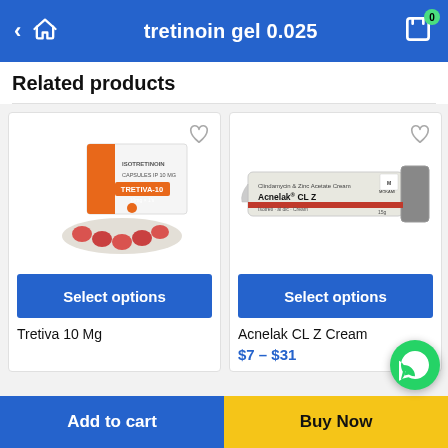tretinoin gel 0.025
Related products
[Figure (photo): Tretiva 10 Mg capsule product box with orange branding and blister pack of capsules]
Select options
Tretiva 10 Mg
[Figure (photo): Acnelak CL Z Cream tube - Clindamycin & Zinc Acetate Cream by Mokami]
Select options
Acnelak CL Z Cream
$7 – $31
Add to cart
Buy Now